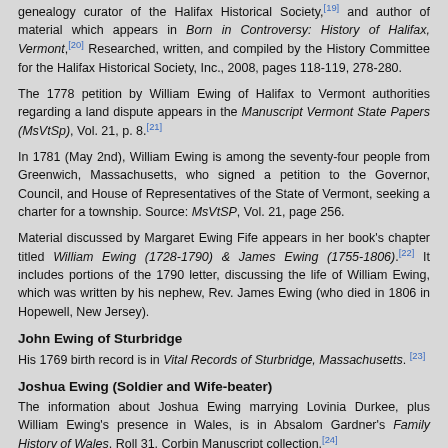genealogy curator of the Halifax Historical Society,[19] and author of material which appears in Born in Controversy: History of Halifax, Vermont,[20] Researched, written, and compiled by the History Committee for the Halifax Historical Society, Inc., 2008, pages 118-119, 278-280.
The 1778 petition by William Ewing of Halifax to Vermont authorities regarding a land dispute appears in the Manuscript Vermont State Papers (MsVtSp), Vol. 21, p. 8.[21]
In 1781 (May 2nd), William Ewing is among the seventy-four people from Greenwich, Massachusetts, who signed a petition to the Governor, Council, and House of Representatives of the State of Vermont, seeking a charter for a township. Source: MsVtSP, Vol. 21, page 256.
Material discussed by Margaret Ewing Fife appears in her book’s chapter titled William Ewing (1728-1790) & James Ewing (1755-1806).[22] It includes portions of the 1790 letter, discussing the life of William Ewing, which was written by his nephew, Rev. James Ewing (who died in 1806 in Hopewell, New Jersey).
John Ewing of Sturbridge
His 1769 birth record is in Vital Records of Sturbridge, Massachusetts. [23]
Joshua Ewing (Soldier and Wife-beater)
The information about Joshua Ewing marrying Lovinia Durkee, plus William Ewing’s presence in Wales, is in Absalom Gardner’s Family History of Wales, Roll 31, Corbin Manuscript collection.[24]
Joshua Ewing’s military record is in Massachusetts Soldiers and Sailors in the War of the Revolution, Vol. 5, page 442.[25]
The un-sourced family tree on Ancestry.com asserting information about Joshua…